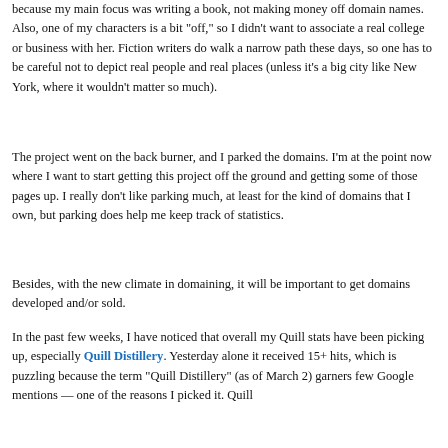because my main focus was writing a book, not making money off domain names. Also, one of my characters is a bit "off," so I didn't want to associate a real college or business with her. Fiction writers do walk a narrow path these days, so one has to be careful not to depict real people and real places (unless it's a big city like New York, where it wouldn't matter so much).
The project went on the back burner, and I parked the domains. I'm at the point now where I want to start getting this project off the ground and getting some of those pages up. I really don't like parking much, at least for the kind of domains that I own, but parking does help me keep track of statistics.
Besides, with the new climate in domaining, it will be important to get domains developed and/or sold.
In the past few weeks, I have noticed that overall my Quill stats have been picking up, especially Quill Distillery. Yesterday alone it received 15+ hits, which is puzzling because the term "Quill Distillery" (as of March 2) garners few Google mentions — one of the reasons I picked it. Quill